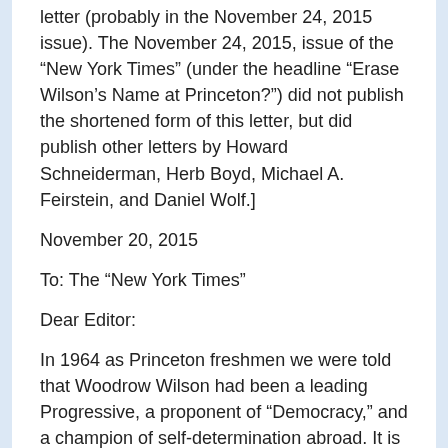letter (probably in the November 24, 2015 issue). The November 24, 2015, issue of the “New York Times” (under the headline “Erase Wilson’s Name at Princeton?”) did not publish the shortened form of this letter, but did publish other letters by Howard Schneiderman, Herb Boyd, Michael A. Feirstein, and Daniel Wolf.]
November 20, 2015
To: The “New York Times”
Dear Editor:
In 1964 as Princeton freshmen we were told that Woodrow Wilson had been a leading Progressive, a proponent of “Democracy,” and a champion of self-determination abroad. It is good to see students today challenging that picture (“Students Want Woodrow Wilson’s Name Removed From Princeton,” November